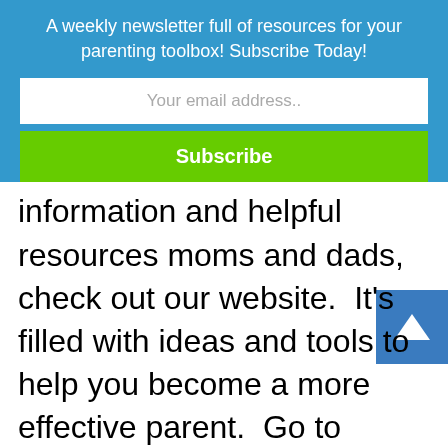A weekly newsletter full of resources for your parenting toolbox! Subscribe Today!
Your email address..
Subscribe
information and helpful resources moms and dads, check out our website.  It’s filled with ideas and tools to help you become a more effective parent.  Go to www.heartlightministries.org.  Or read other helpful articles by Mark, at www.markgregston.com.  You can